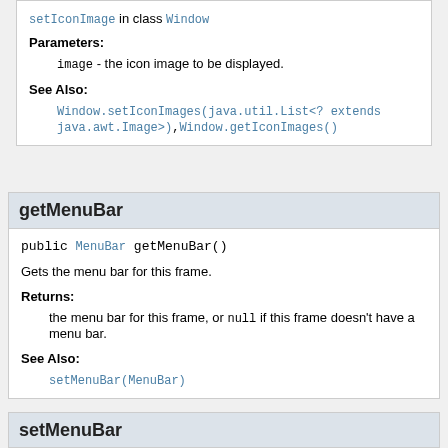setIconImage in class Window
Parameters:
image - the icon image to be displayed.
See Also:
Window.setIconImages(java.util.List<? extends java.awt.Image>), Window.getIconImages()
getMenuBar
public MenuBar getMenuBar()
Gets the menu bar for this frame.
Returns:
the menu bar for this frame, or null if this frame doesn't have a menu bar.
See Also:
setMenuBar(MenuBar)
setMenuBar
public void setMenuBar(MenuBar mb)